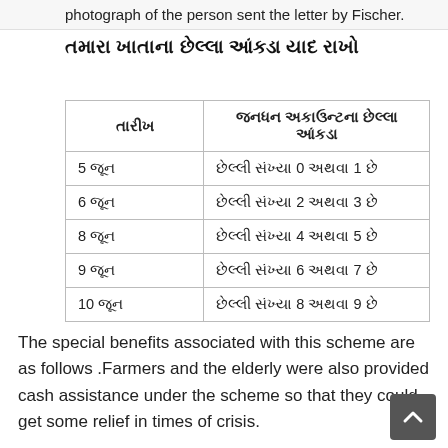photograph of the person sent the letter by Fischer.
તમારા ખાતાના છેલ્લા આંકડા યાદ રાખો
| તારીખ | જનધન અકાઉન્ટના છેલ્લા આંકડા |
| --- | --- |
| 5 જૂન | છેલ્લી સંખ્યા 0 અથવા 1 છે |
| 6 જૂન | છેલ્લી સંખ્યા 2 અથવા 3 છે |
| 8 જૂન | છેલ્લી સંખ્યા 4 અથવા 5 છે |
| 9 જૂન | છેલ્લી સંખ્યા 6 અથવા 7 છે |
| 10 જૂન | છેલ્લી સંખ્યા 8 અથવા 9 છે |
The special benefits associated with this scheme are as follows .Farmers and the elderly were also provided cash assistance under the scheme so that they could get some relief in times of crisis.